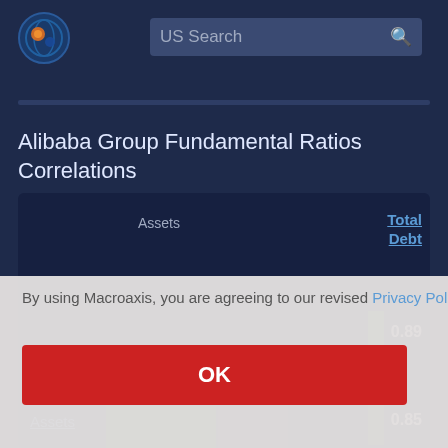US Search
Alibaba Group Fundamental Ratios Correlations
[Figure (table-as-image): Partial view of a correlations table with columns including Total Debt. Visible values: 0.89 and 0.85. Assets row visible at bottom.]
By using Macroaxis, you are agreeing to our revised Privacy Policy
OK